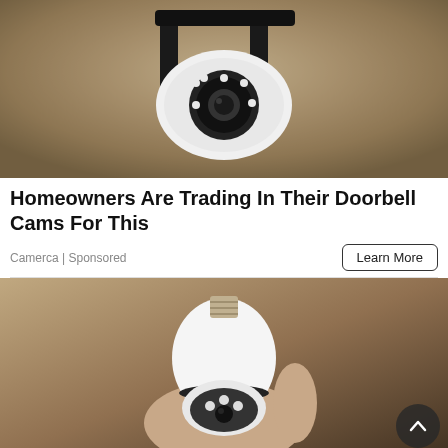[Figure (photo): Close-up photo of a security camera mounted on a wall bracket outdoors, with LED ring lights visible]
Homeowners Are Trading In Their Doorbell Cams For This
Camerca | Sponsored
Learn More
[Figure (photo): A hand holding a white smart light bulb security camera with LED lights, indoors]
[Figure (logo): Kitselas banner advertisement: Kitselas Members! Don't miss our monthly Treaty Info Sessions. TAP FOR MORE INFO]